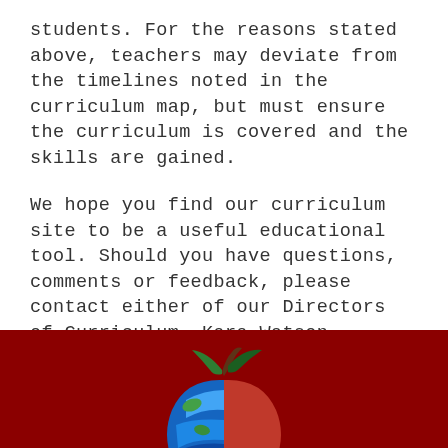students. For the reasons stated above, teachers may deviate from the timelines noted in the curriculum map, but must ensure the curriculum is covered and the skills are gained.
We hope you find our curriculum site to be a useful educational tool. Should you have questions, comments or feedback, please contact either of our Directors of Curriculum, Kara Watson kwatson@berlinschools.org or Laurie Gjerpen lgjerpen@berlinschools.org. Or reach out to them at the Board of Education (860)828-6581.
[Figure (illustration): Dark red footer bar with a colorful globe-patterned apple logo partially visible at the bottom center of the page]